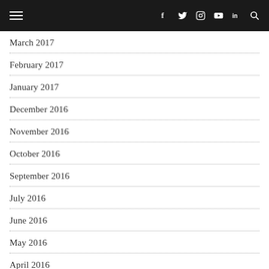Navigation bar with hamburger menu and social icons: f, twitter, instagram, youtube, in, search
March 2017
February 2017
January 2017
December 2016
November 2016
October 2016
September 2016
July 2016
June 2016
May 2016
April 2016